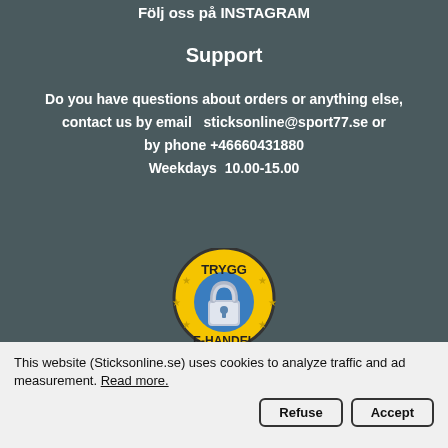Följ oss på INSTAGRAM
Support
Do you have questions about orders or anything else, contact us by email   sticksonline@sport77.se or by phone +46660431880
Weekdays  10.00-15.00
[Figure (logo): TRYGG e-handel trust badge with a padlock icon on a yellow circular background with stars]
This website (Sticksonline.se) uses cookies to analyze traffic and ad measurement. Read more.